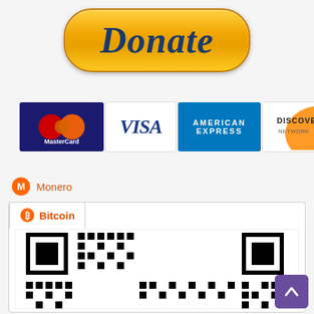[Figure (illustration): PayPal-style orange Donate button with italic bold dark blue text]
[Figure (illustration): Row of payment method logos: MasterCard, VISA, American Express, Discover Network, BANK]
[Figure (logo): Monero cryptocurrency icon (orange circle with M) followed by text 'Monero']
[Figure (illustration): Bitcoin tab panel with Bitcoin icon and label 'Bitcoin', containing a QR code]
[Figure (other): Purple scroll-to-top button with upward chevron arrow]